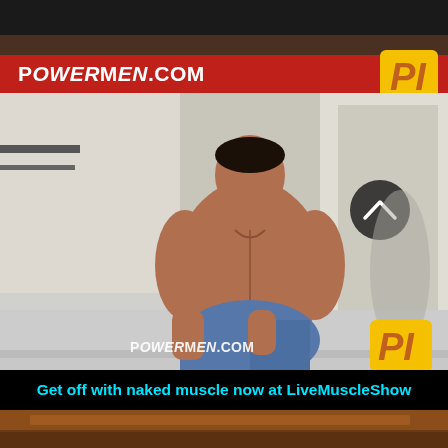[Figure (photo): Screenshot of PowerMen.com website showing a muscular shirtless man sitting on a stool outdoors, wearing jeans. The site header shows 'POWERMEN.COM' on a red bar with a PI logo in gold/yellow. A navigation arrow button is visible. The PowerMen.com watermark and PI logo appear at the bottom of the photo.]
Get off with naked muscle now at LiveMuscleShow
[Figure (photo): Bottom portion showing a wooden surface/table, partially cut off.]